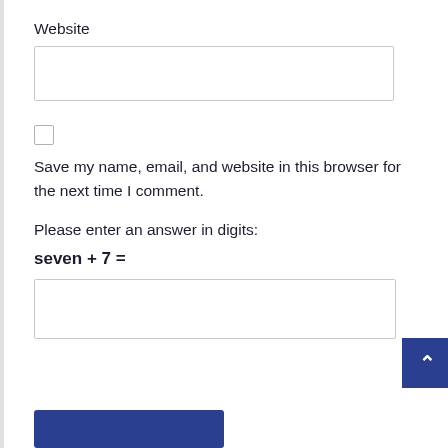Website
Save my name, email, and website in this browser for the next time I comment.
Please enter an answer in digits: